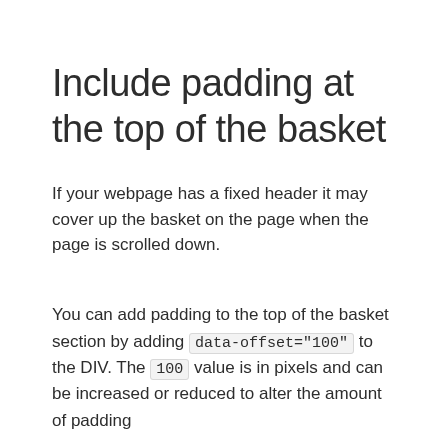Include padding at the top of the basket
If your webpage has a fixed header it may cover up the basket on the page when the page is scrolled down.
You can add padding to the top of the basket section by adding data-offset="100" to the DIV. The 100 value is in pixels and can be increased or reduced to alter the amount of padding